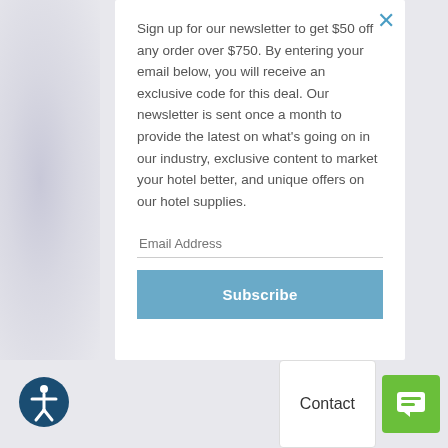Sign up for our newsletter to get $50 off any order over $750. By entering your email below, you will receive an exclusive code for this deal. Our newsletter is sent once a month to provide the latest on what's going on in our industry, exclusive content to market your hotel better, and unique offers on our hotel supplies.
Email Address
Subscribe
Contact